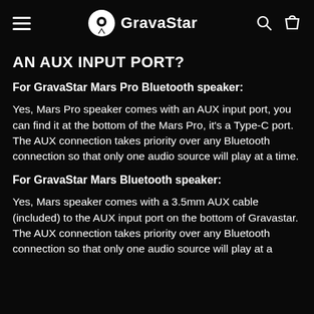GravaStar
AN AUX INPUT PORT?
For GravaStar Mars Pro Bluetooth speaker:
Yes, Mars Pro speaker comes with an AUX input port, you can find it at the bottom of the Mars Pro, it's a Type-C port. The AUX connection takes priority over any Bluetooth connection so that only one audio source will play at a time.
For GravaStar Mars Bluetooth speaker:
Yes, Mars speaker comes with a 3.5mm AUX cable (included) to the AUX input port on the bottom of Gravastar. The AUX connection takes priority over any Bluetooth connection so that only one audio source will play at a